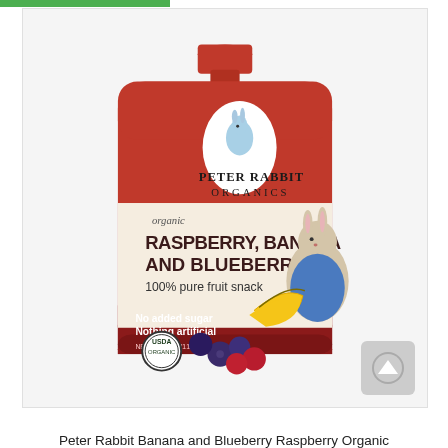[Figure (photo): Peter Rabbit Organics product pouch — Raspberry, Banana and Blueberry 100% pure fruit snack. Red squeeze pouch with red cap, USDA Organic seal, illustration of Peter Rabbit with bananas and berries.]
Peter Rabbit Banana and Blueberry Raspberry Organic